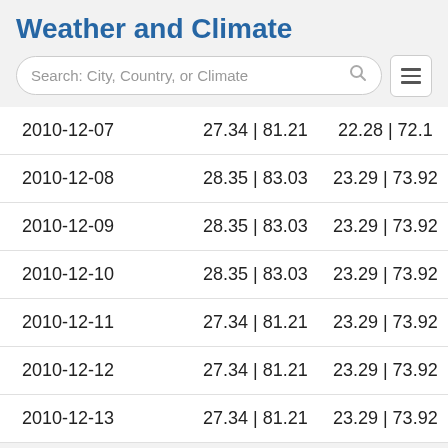Weather and Climate
| 2010-12-07 | 27.34 | 81.21 | 22.28 | 72.1 |
| 2010-12-08 | 28.35 | 83.03 | 23.29 | 73.92 |
| 2010-12-09 | 28.35 | 83.03 | 23.29 | 73.92 |
| 2010-12-10 | 28.35 | 83.03 | 23.29 | 73.92 |
| 2010-12-11 | 27.34 | 81.21 | 23.29 | 73.92 |
| 2010-12-12 | 27.34 | 81.21 | 23.29 | 73.92 |
| 2010-12-13 | 27.34 | 81.21 | 23.29 | 73.92 |